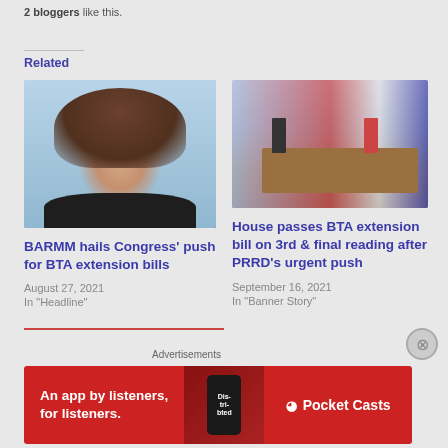2 bloggers like this.
Related
[Figure (photo): Headshot of a woman with brown hair against a light blue background]
BARMM hails Congress' push for BTA extension bills
August 27, 2021
In "Headline"
[Figure (photo): Photo of a government/legislative hall with a podium and Philippine flags]
House passes BTA extension bill on 3rd & final reading after PRRD's urgent push
September 16, 2021
In "Banner Story"
Advertisements
[Figure (screenshot): Red advertisement banner for Pocket Casts app: An app by listeners, for listeners.]